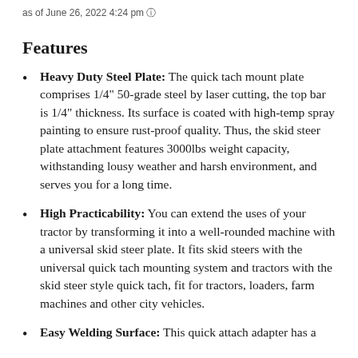as of June 26, 2022 4:24 pm ⓘ
Features
Heavy Duty Steel Plate: The quick tach mount plate comprises 1/4" 50-grade steel by laser cutting, the top bar is 1/4" thickness. Its surface is coated with high-temp spray painting to ensure rust-proof quality. Thus, the skid steer plate attachment features 3000lbs weight capacity, withstanding lousy weather and harsh environment, and serves you for a long time.
High Practicability: You can extend the uses of your tractor by transforming it into a well-rounded machine with a universal skid steer plate. It fits skid steers with the universal quick tach mounting system and tractors with the skid steer style quick tach, fit for tractors, loaders, farm machines and other city vehicles.
Easy Welding Surface: This quick attach adapter has a